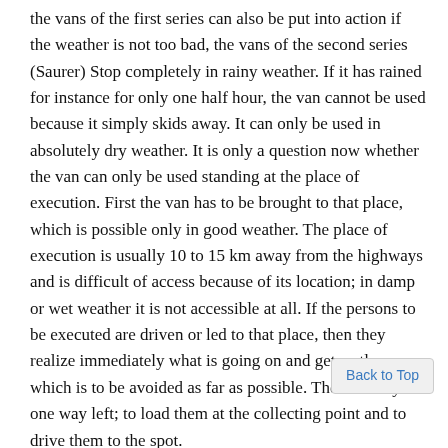the vans of the first series can also be put into action if the weather is not too bad, the vans of the second series (Saurer) Stop completely in rainy weather. If it has rained for instance for only one half hour, the van cannot be used because it simply skids away. It can only be used in absolutely dry weather. It is only a question now whether the van can only be used standing at the place of execution. First the van has to be brought to that place, which is possible only in good weather. The place of execution is usually 10 to 15 km away from the highways and is difficult of access because of its location; in damp or wet weather it is not accessible at all. If the persons to be executed are driven or led to that place, then they realize immediately what is going on and get restless, which is to be avoided as far as possible. There is only one way left; to load them at the collecting point and to drive them to the spot.
"I ordered the vans of group D to be camouflaged as housetrailers by putting one set of window shutters on each side of the small van and two on each side of the larger vans, such as one often sees on farm houses in the country. The vans became